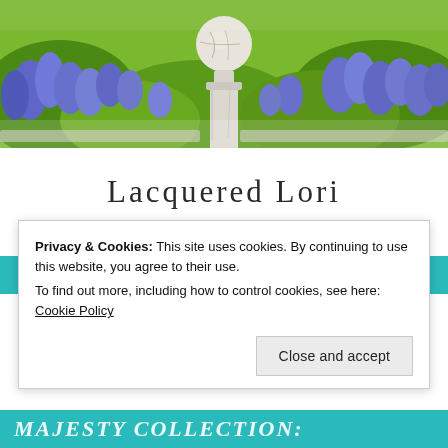[Figure (photo): Outdoor photo showing bluebonnet flowers (purple/blue) with green foliage, and a white distressed decorative finial/post cap in the center foreground]
Lacquered Lori
- Colorizing your world, one digit at a time -
≡ MENU
Privacy & Cookies: This site uses cookies. By continuing to use this website, you agree to their use.
To find out more, including how to control cookies, see here: Cookie Policy
Close and accept
MAJESTY COLLECTION: